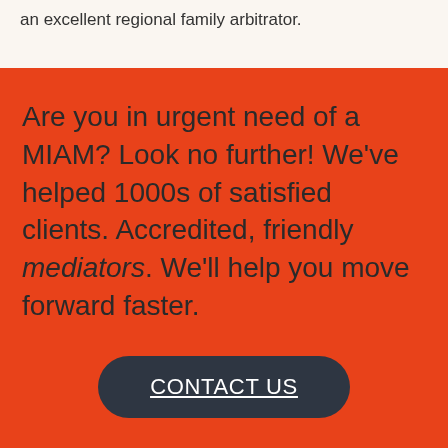an excellent regional family arbitrator.
Are you in urgent need of a MIAM? Look no further! We've helped 1000s of satisfied clients. Accredited, friendly mediators. We'll help you move forward faster.
CONTACT US